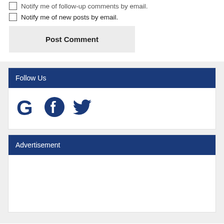Notify me of follow-up comments by email.
Notify me of new posts by email.
Post Comment
Follow Us
[Figure (illustration): Social media icons: Google (G), Facebook, Twitter]
Advertisement